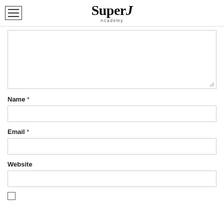Super J Academy
[Figure (screenshot): Large textarea form input, partially visible (top cut off), with resize handle at bottom right]
Name *
[Figure (screenshot): Text input field for Name]
Email *
[Figure (screenshot): Text input field for Email]
Website
[Figure (screenshot): Text input field for Website]
[Figure (screenshot): Unchecked checkbox]